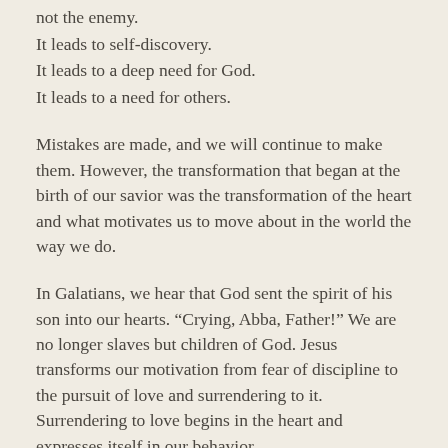not the enemy.
It leads to self-discovery.
It leads to a deep need for God.
It leads to a need for others.
Mistakes are made, and we will continue to make them. However, the transformation that began at the birth of our savior was the transformation of the heart and what motivates us to move about in the world the way we do.
In Galatians, we hear that God sent the spirit of his son into our hearts. “Crying, Abba, Father!” We are no longer slaves but children of God. Jesus transforms our motivation from fear of discipline to the pursuit of love and surrendering to it. Surrendering to love begins in the heart and expresses itself in our behavior.
A child, this child, teaches us how to love. Love opens our hearts to joy.
We are no longer under disciplinary law. We are no longer slaves. Our actions are no longer centered on avoiding sin, no longer motivated by